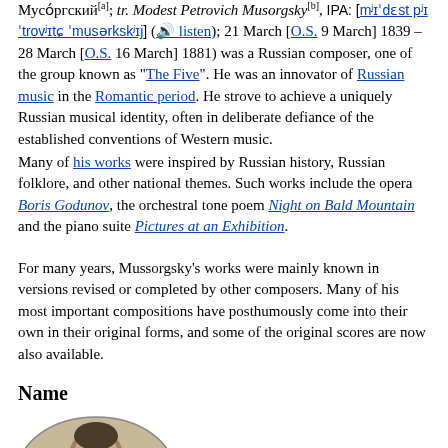Мусо́ргский[a]; tr. Modest Petrovich Musorgsky[b], IPA: [mʲɪˈdɛst pʲɪˈtrovʲɪtɕ ˈmusərkskʲɪj] (listen); 21 March [O.S. 9 March] 1839 – 28 March [O.S. 16 March] 1881) was a Russian composer, one of the group known as "The Five". He was an innovator of Russian music in the Romantic period. He strove to achieve a uniquely Russian musical identity, often in deliberate defiance of the established conventions of Western music.
Many of his works were inspired by Russian history, Russian folklore, and other national themes. Such works include the opera Boris Godunov, the orchestral tone poem Night on Bald Mountain and the piano suite Pictures at an Exhibition.
For many years, Mussorgsky's works were mainly known in versions revised or completed by other composers. Many of his most important compositions have posthumously come into their own in their original forms, and some of the original scores are now also available.
Name
[Figure (photo): Black and white oval portrait photo of a young Mussorgsky]